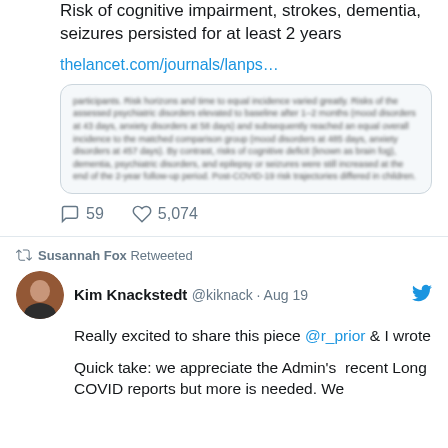Risk of cognitive impairment, strokes, dementia, seizures persisted for at least 2 years
thelancet.com/journals/lanps…
[Figure (screenshot): Blurred article preview text from The Lancet about neurological and psychiatric disorders after COVID-19]
59 comments, 5,074 likes
Susannah Fox Retweeted
Kim Knackstedt @kiknack · Aug 19
Really excited to share this piece @r_prior & I wrote
Quick take: we appreciate the Admin's  recent Long COVID reports but more is needed. We